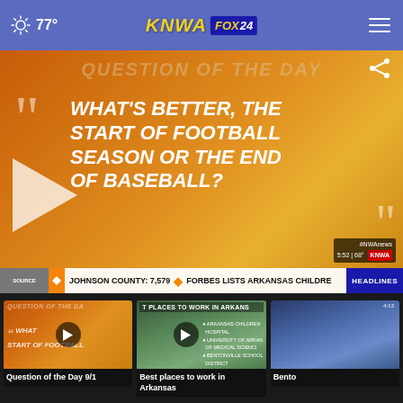77° | KNWA FOX 24
[Figure (screenshot): KNWA FOX 24 news website screenshot showing a 'Question of the Day' video thumbnail with orange/yellow gradient background, large white bold text reading WHAT'S BETTER, THE START OF FOOTBALL SEASON OR THE END OF BASEBALL?, a play button, quotation marks, and a news ticker at the bottom showing JOHNSON COUNTY: 7,579 and FORBES LISTS ARKANSAS CHILDRE with HEADLINES tag]
Question of the Day 9/1
Best places to work in Arkansas
Bento